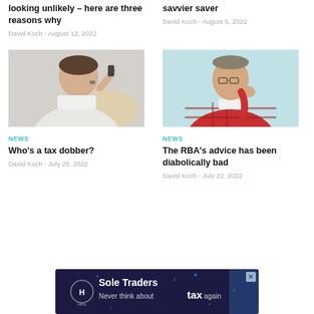looking unlikely – here are three reasons why
David Koch - August 12, 2022
savvier saver
David Koch - August 5, 2022
[Figure (photo): Man in white shirt talking on phone, back view]
NEWS
Who's a tax dobber?
David Koch - July 29, 2022
[Figure (photo): Man in red plaid shirt with glasses, looking thoughtful, light blue background]
NEWS
The RBA's advice has been diabolically bad
David Koch - July 22, 2022
[Figure (infographic): Hnry advertisement banner: Sole Traders Never think about tax again]